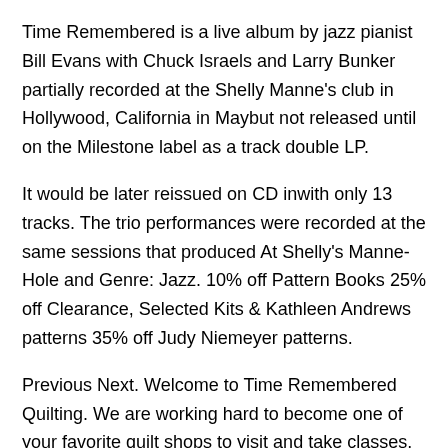Time Remembered is a live album by jazz pianist Bill Evans with Chuck Israels and Larry Bunker partially recorded at the Shelly Manne's club in Hollywood, California in Maybut not released until on the Milestone label as a track double LP.
It would be later reissued on CD inwith only 13 tracks. The trio performances were recorded at the same sessions that produced At Shelly's Manne-Hole and Genre: Jazz. 10% off Pattern Books 25% off Clearance, Selected Kits & Kathleen Andrews patterns 35% off Judy Niemeyer patterns.
Previous Next. Welcome to Time Remembered Quilting. We are working hard to become one of your favorite quilt shops to visit and take classes. Five years and counting since we opened and we have grown a lot. Time Remembered Quilting. Things Remembered reserves the right to change the Terms and Conditions of the Rewards Club program or terminate this program at any time without notice.
Employees of Things Remembered, its parent, subsidiary and affiliated companies, and their families, are not eligible to participate